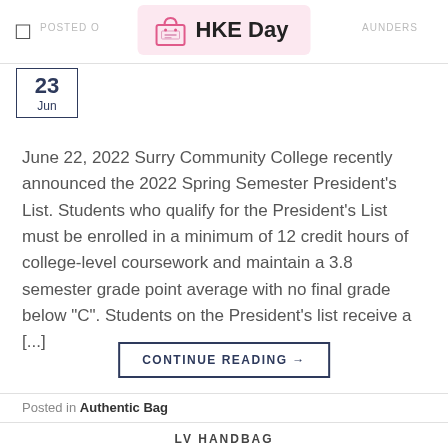HKE Day
June 22, 2022 Surry Community College recently announced the 2022 Spring Semester President’s List. Students who qualify for the President’s List must be enrolled in a minimum of 12 credit hours of college-level coursework and maintain a 3.8 semester grade point average with no final grade below “C”. Students on the President’s list receive a [...]
CONTINUE READING →
Posted in Authentic Bag
LV HANDBAG